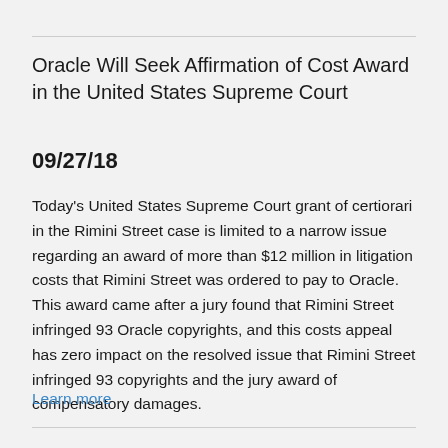Oracle Will Seek Affirmation of Cost Award in the United States Supreme Court
09/27/18
Today's United States Supreme Court grant of certiorari in the Rimini Street case is limited to a narrow issue regarding an award of more than $12 million in litigation costs that Rimini Street was ordered to pay to Oracle. This award came after a jury found that Rimini Street infringed 93 Oracle copyrights, and this costs appeal has zero impact on the resolved issue that Rimini Street infringed 93 copyrights and the jury award of compensatory damages.
Learn more